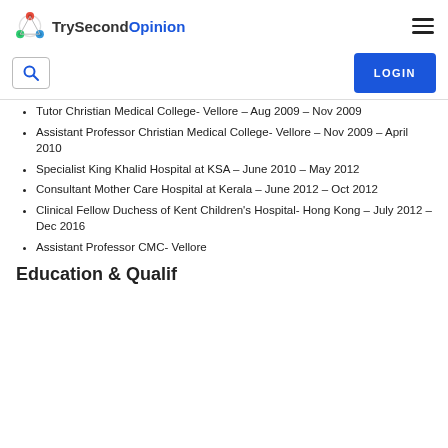TrySecondOpinion
Tutor Christian Medical College- Vellore – Aug 2009 – Nov 2009
Assistant Professor Christian Medical College- Vellore – Nov 2009 – April 2010
Specialist King Khalid Hospital at KSA – June 2010 – May 2012
Consultant Mother Care Hospital at Kerala – June 2012 – Oct 2012
Clinical Fellow Duchess of Kent Children's Hospital- Hong Kong – July 2012 – Dec 2016
Assistant Professor CMC- Vellore
Education & Qualifications